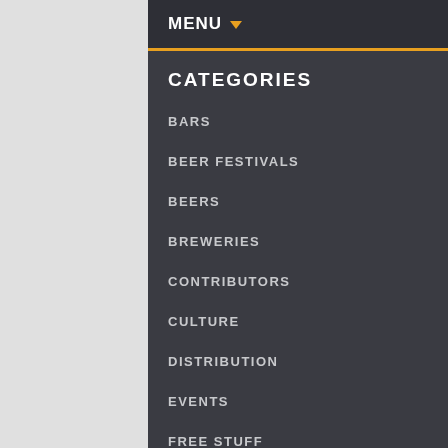MENU
CATEGORIES
BARS
BEER FESTIVALS
BEERS
BREWERIES
CONTRIBUTORS
CULTURE
DISTRIBUTION
EVENTS
FREE STUFF
HOMEBREWING